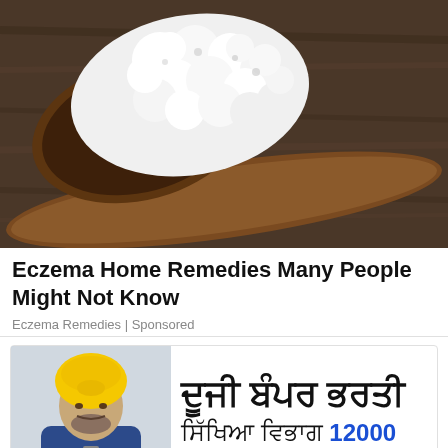[Figure (photo): A wooden spoon holding white cauliflower-like kefir grains against a dark rustic wooden background]
Eczema Home Remedies Many People Might Not Know
Eczema Remedies | Sponsored
[Figure (photo): A man wearing a yellow turban and blue suit jacket speaking at a podium]
ਦੂਜੀ ਬੰਪਰ ਭਰਤੀ
ਸਿੱਖਿਆ ਵਿਭਾਗ 12000